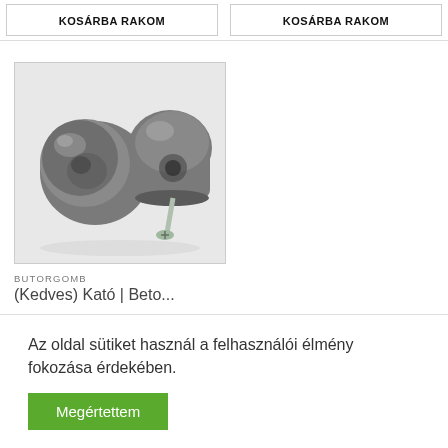KOSÁRBA RAKOM
KOSÁRBA RAKOM
[Figure (photo): Two concrete/resin furniture knobs/pulls, dark gray, one with a screw inserted, on a light background]
BUTORGOMB
(Kedves) Kató | Beto...
Az oldal sütiket használ a felhasználói élmény fokozása érdekében.
Megértettem